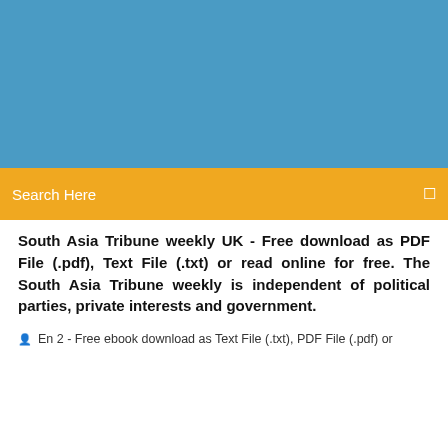[Figure (photo): Blue banner header image at the top of a webpage]
Search Here
South Asia Tribune weekly UK - Free download as PDF File (.pdf), Text File (.txt) or read online for free. The South Asia Tribune weekly is independent of political parties, private interests and government.
En 2 - Free ebook download as Text File (.txt), PDF File (.pdf) or